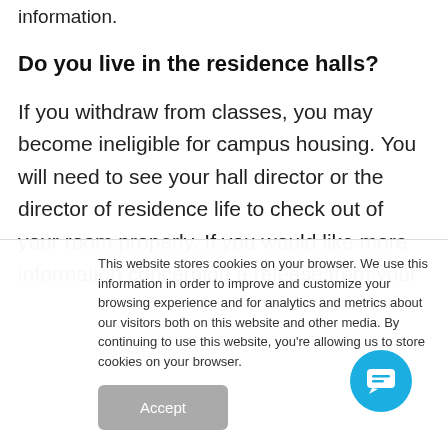information.
Do you live in the residence halls?
If you withdraw from classes, you may become ineligible for campus housing. You will need to see your hall director or the director of residence life to check out of your room properly. If you would like more information concerning a release from your
This website stores cookies on your browser. We use this information in order to improve and customize your browsing experience and for analytics and metrics about our visitors both on this website and other media. By continuing to use this website, you're allowing us to store cookies on your browser.
Accept